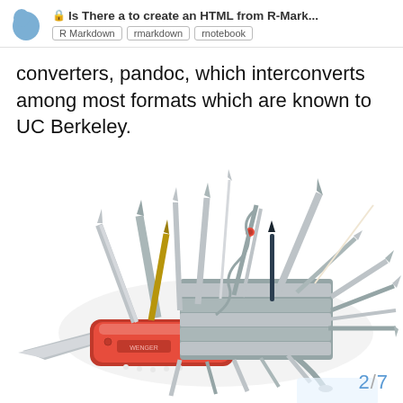Is There a to create an HTML from R-Mark... R Markdown  rmarkdown  rnotebook
converters, pandoc, which interconverts among most formats which are known to UC Berkeley.
[Figure (photo): A Swiss Army knife (Wenger brand) with an enormous number of tools deployed outward in all directions, creating a spiky circular shape. The red handle and silver tools fill most of the image.]
2 / 7